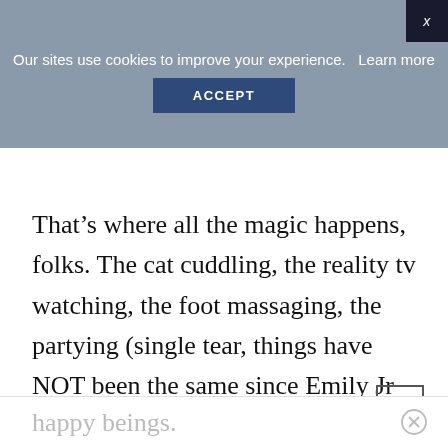Our sites use cookies to improve your experience.   Learn more
ACCEPT
That’s where all the magic happens, folks. The cat cuddling, the reality tv watching, the foot massaging, the partying (single tear, things have NOT been the same since Emily Jr starting growing in the belly), and generally all the Livin’ and being a baller.  It’s a happy room, for some
happy beings.